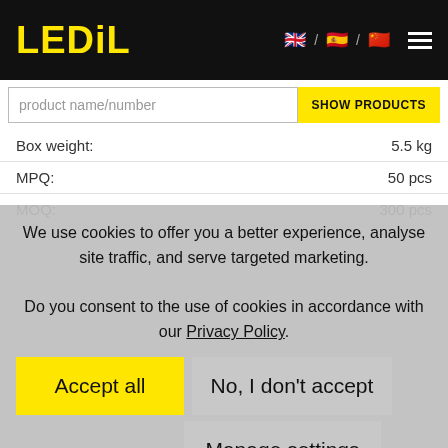LEDiL
| Label | Value |
| --- | --- |
| Box weight: | 5.5 kg |
| MPQ: | 50 pcs |
| MOQ: | 300 pcs |
We use cookies to offer you a better experience, analyse site traffic, and serve targeted marketing. Do you consent to the use of cookies in accordance with our Privacy Policy.
Accept all
No, I don't accept
Manage settings